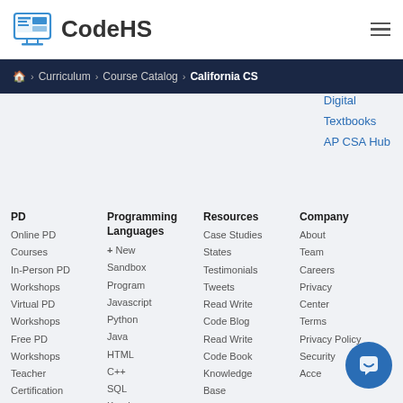[Figure (logo): CodeHS logo with computer monitor icon and text 'CodeHS']
Home > Curriculum > Course Catalog > California CS
Digital
Textbooks
AP CSA Hub
PD
Online PD
Courses
In-Person PD
Workshops
Virtual PD
Workshops
Free PD
Workshops
Teacher
Certification
Prep
Microcredentials
Programming Languages
+ New
Sandbox
Program
Javascript
Python
Java
HTML
C++
SQL
Karel
Resources
Case Studies
States
Testimonials
Tweets
Read Write
Code Blog
Read Write
Code Book
Knowledge
Base
Webinars
Partners
Company
About
Team
Careers
Privacy
Center
Terms
Privacy Policy
Security
Acce…